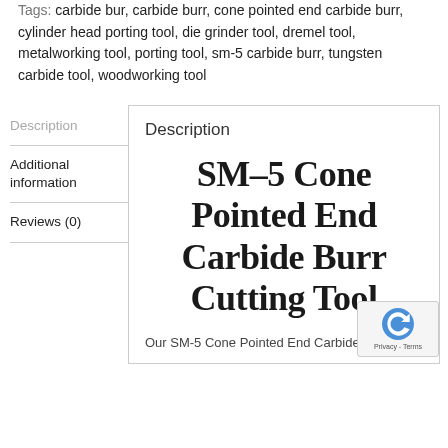Tags: carbide bur, carbide burr, cone pointed end carbide burr, cylinder head porting tool, die grinder tool, dremel tool, metalworking tool, porting tool, sm-5 carbide burr, tungsten carbide tool, woodworking tool
Description
Additional information
Reviews (0)
Description
SM-5 Cone Pointed End Carbide Burr Cutting Tool
Our SM-5 Cone Pointed End Carbide...